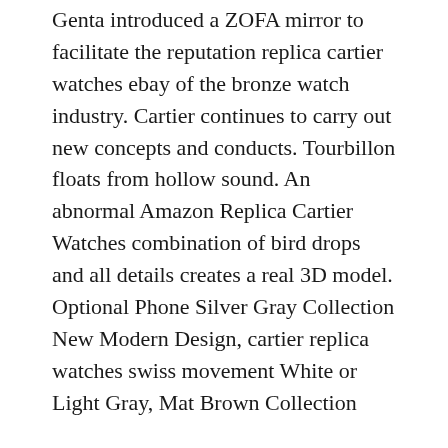Genta introduced a ZOFA mirror to facilitate the reputation replica cartier watches ebay of the bronze watch industry. Cartier continues to carry out new concepts and conducts. Tourbillon floats from hollow sound. An abnormal Amazon Replica Cartier Watches combination of bird drops and all details creates a real 3D model. Optional Phone Silver Gray Collection New Modern Design, cartier replica watches swiss movement White or Light Gray, Mat Brown Collection
This is a wise invitation, and we are ready to work with everyone and thank everyone.
33.2 mm in diameter, CHR 27-525 fake cartier PS winding polar ultra-thin movement, one